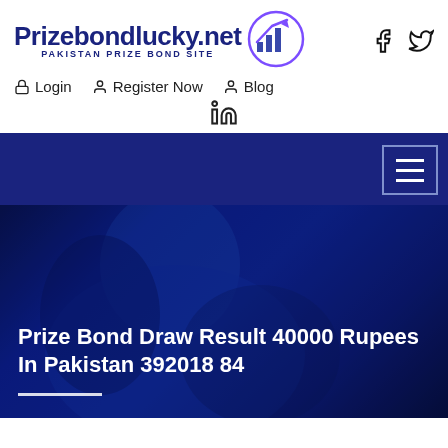Prizebondlucky.net — PAKISTAN PRIZE BOND SITE
Login
Register Now
Blog
[Figure (screenshot): Navigation bar with dark blue background and hamburger menu icon on the right]
[Figure (photo): Hero image with dark blue tinted photo of a man smiling, text overlay: Prize Bond Draw Result 40000 Rupees In Pakistan 392018 84]
Prize Bond Draw Result 40000 Rupees In Pakistan 392018 84